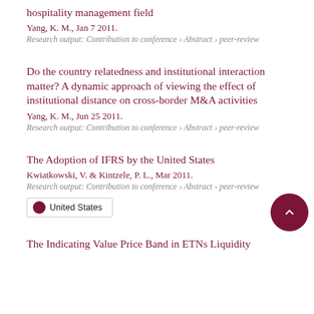hospitality management field
Yang, K. M., Jan 7 2011.
Research output: Contribution to conference › Abstract › peer-review
Do the country relatedness and institutional interaction matter? A dynamic approach of viewing the effect of institutional distance on cross-border M&A activities
Yang, K. M., Jun 25 2011.
Research output: Contribution to conference › Abstract › peer-review
The Adoption of IFRS by the United States
Kwiatkowski, V. & Kintzele, P. L., Mar 2011.
Research output: Contribution to conference › Abstract › peer-review
United States
The Indicating Value Price Band in ETNs Liquidity